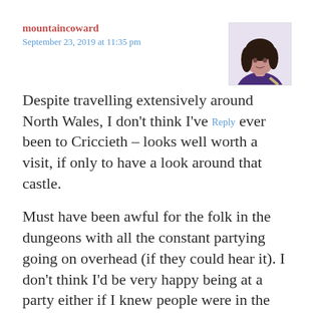mountaincoward
September 23, 2019 at 11:35 pm
[Figure (photo): Avatar photo of a woman with dark hair wearing a purple top, against a light background]
Despite travelling extensively around North Wales, I don't think I've ever been to Criccieth – looks well worth a visit, if only to have a look around that castle.
Reply
Must have been awful for the folk in the dungeons with all the constant partying going on overhead (if they could hear it). I don't think I'd be very happy being at a party either if I knew people were in the dungeons suffering below. But then I